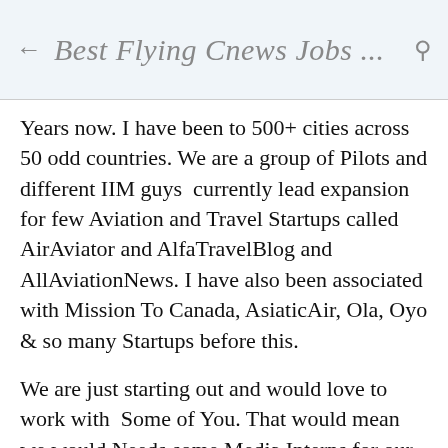← Best Flying Cnews Jobs ... 🔍
Years now. I have been to 500+ cities across 50 odd countries. We are a group of Pilots and different IIM guys  currently lead expansion for few Aviation and Travel Startups called AirAviator and AlfaTravelBlog and AllAviationNews. I have also been associated with Mission To Canada, AsiaticAir, Ola, Oyo & so many Startups before this.
We are just starting out and would love to work with  Some of You. That would mean we would Needs some Media Interns for our News, Blogs, and across our Social